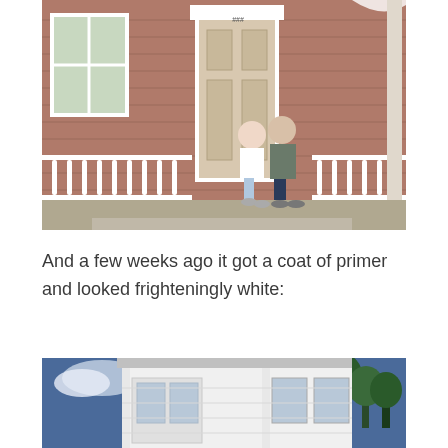[Figure (photo): Two people standing at the front door of an older house with a covered porch, decorative white railings, and mauve/pink horizontal siding. A man and woman posing together at the entry.]
And a few weeks ago it got a coat of primer and looked frighteningly white:
[Figure (photo): Exterior view of a house freshly coated in white primer paint, showing the corner of the building with multiple windows against a blue sky with trees in background.]